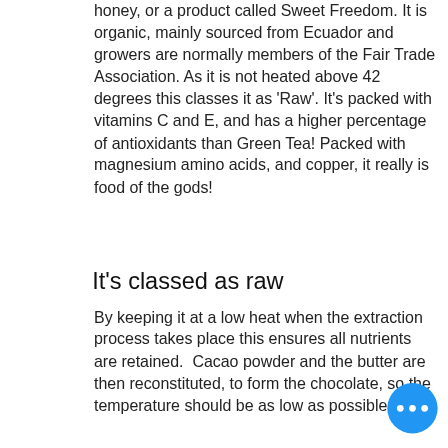honey, or a product called Sweet Freedom. It is organic, mainly sourced from Ecuador and growers are normally members of the Fair Trade Association. As it is not heated above 42 degrees this classes it as 'Raw'. It's packed with vitamins C and E, and has a higher percentage of antioxidants than Green Tea! Packed with magnesium amino acids, and copper, it really is food of the gods!
It's classed as raw
By keeping it at a low heat when the extraction process takes place this ensures all nutrients are retained.  Cacao powder and the butter are then reconstituted, to form the chocolate, so the temperature should be as low as possible to
[Figure (other): Blue circular button with three white dots (ellipsis/more options button)]